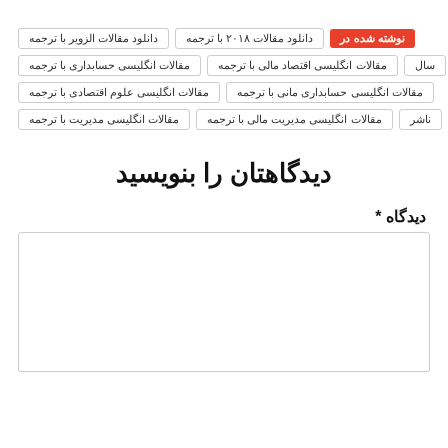نوشته شده در
دانلود مقالات ۲۰۱۸ با ترجمه
دانلود مقالات الزویر با ترجمه
سال
مقالات انگلیسی اقتصاد مالی با ترجمه
مقالات انگلیسی حسابداری با ترجمه
مقالات انگلیسی حسابداری مانی با ترجمه
مقالات انگلیسی علوم اقتصادی با ترجمه
مقالات انگلیسی مدیریت با ترجمه
مقالات انگلیسی مدیریت مالی با ترجمه
ناشر
دیدگاهتان را بنویسید
دیدگاه *